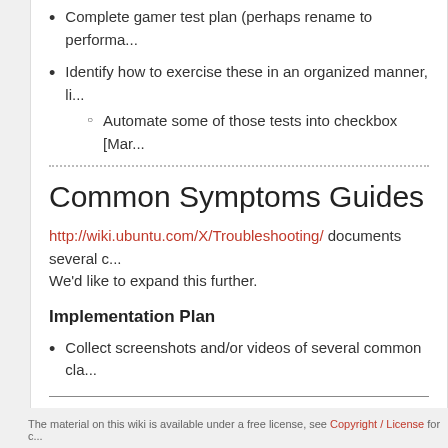Complete gamer test plan (perhaps rename to performa...
Identify how to exercise these in an organized manner, li...
Automate some of those tests into checkbox [Marc...
Common Symptoms Guides
http://wiki.ubuntu.com/X/Troubleshooting/ documents several c... We'd like to expand this further.
Implementation Plan
Collect screenshots and/or videos of several common cla...
CategorySpec
X/Blueprints/TriagingAndD...
The material on this wiki is available under a free license, see Copyright / License for c...